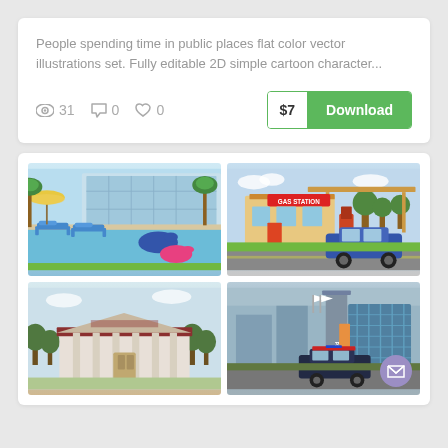People spending time in public places flat color vector illustrations set. Fully editable 2D simple cartoon character...
31  0  0  $7  Download
[Figure (illustration): Four flat color vector illustrations in a 2x2 grid: top-left shows a pool/resort scene with lounge chairs, umbrellas, and inflatable pool toys; top-right shows a gas station with a blue car; bottom-left shows a bank/government building with columns; bottom-right shows a police station with a police car.]